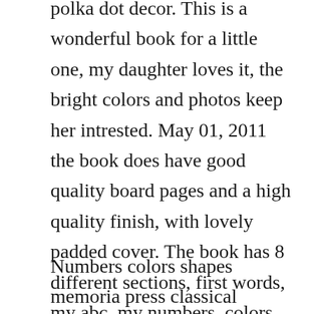polka dot decor. This is a wonderful book for a little one, my daughter loves it, the bright colors and photos keep her intrested. May 01, 2011 the book does have good quality board pages and a high quality finish, with lovely padded cover. The book has 8 different sections, first words, my abc, my numbers, colors, opposites, shapes, time, and our world. This little book introduces children to essentials like numbers, feelings, sizes, shapes, times of day, and colors.
Numbers colors shapes memoria press classical christian. He knows about half of the